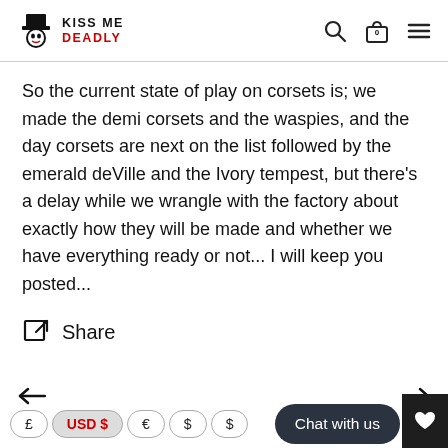Kiss Me Deadly — Navigation header with logo, search, bag (0), and menu icons
So the current state of play on corsets is; we made the demi corsets and the waspies, and the day corsets are next on the list followed by the emerald deVille and the Ivory tempest, but there's a delay while we wrangle with the factory about exactly how they will be made and whether we have everything ready or not... I will keep you posted...
Share
← → Chat with us  £  USD $  €  $  $  ♥